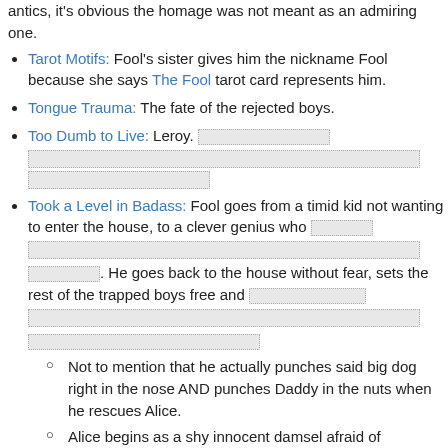antics, it's obvious the homage was not meant as an admiring one.
Tarot Motifs: Fool's sister gives him the nickname Fool because she says The Fool tarot card represents him.
Tongue Trauma: The fate of the rejected boys.
Too Dumb to Live: Leroy. [redacted content]
Took a Level in Badass: Fool goes from a timid kid not wanting to enter the house, to a clever genius who [redacted]. He goes back to the house without fear, sets the rest of the trapped boys free and [redacted].
Not to mention that he actually punches said big dog right in the nose AND punches Daddy in the nuts when he rescues Alice.
Alice begins as a shy innocent damsel afraid of